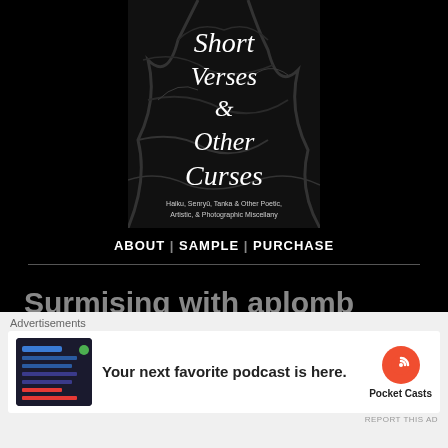[Figure (illustration): Book cover for 'Short Verses & Other Curses' with dark tree branches on black background. Subtitle: Haiku, Senryū, Tanka & Other Poetic, Artistic, & Photographic Miscellany]
ABOUT | SAMPLE | PURCHASE
Surmising with aplomb
[Figure (photo): Photo of a beer or beverage in a glass, warm amber tones]
Advertisements
[Figure (screenshot): Pocket Casts advertisement: 'Your next favorite podcast is here.' with Pocket Casts logo]